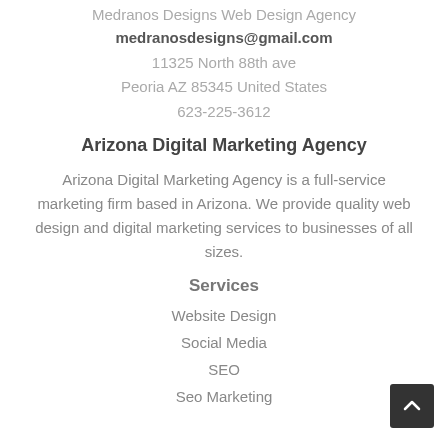Medranos Designs Web Design Agency
medranosdesigns@gmail.com
11325 North 88th ave
Peoria AZ 85345 United States
623-225-3612
Arizona Digital Marketing Agency
Arizona Digital Marketing Agency is a full-service marketing firm based in Arizona. We provide quality web design and digital marketing services to businesses of all sizes.
Services
Website Design
Social Media
SEO
Seo Marketing